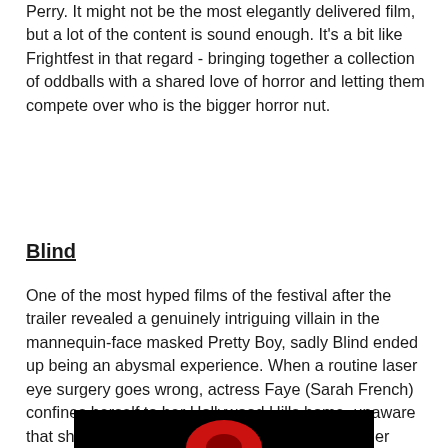Perry. It might not be the most elegantly delivered film, but a lot of the content is sound enough. It's a bit like Frightfest in that regard - bringing together a collection of oddballs with a shared love of horror and letting them compete over who is the bigger horror nut.
Blind
One of the most hyped films of the festival after the trailer revealed a genuinely intriguing villain in the mannequin-face masked Pretty Boy, sadly Blind ended up being an abysmal experience. When a routine laser eye surgery goes wrong, actress Faye (Sarah French) confines herself to her Hollywood Hills home, unaware that she is being stalked by a masked intruder. Her biggest chance of accepting her blindness comes from her new best friend Sophia (Texas Chain Saw Massacre 2's Caroline Williams) and the kind, mute Luke (Tyler Gallant). Hmm, mute you say? I wonder if that's going to play a crucial part in the story later on.
[Figure (photo): Partial image on black background, showing a close-up, mostly cropped at the bottom of the page.]